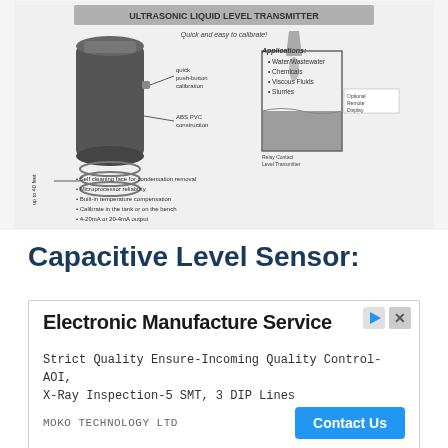[Figure (schematic): Ultrasonic Liquid Level Transmitter diagram showing a cylindrical sensor device with labels: 'quick push-button calibration', 'ABS PVC construction', 'up to 40 feet'. Right side shows a tank cross-section with liquid level. Applications listed: Water/Wastewater, Chemicals, Viscous Fluids, Slurries. Features listed below: Self cleaning face for condensation removal, Microprocessor reliability, Built-in temperature compensation, Calibrate in the tank or on the bench, 4-20mA or 20-4mA output.]
Capacitive Level Sensor:
[Figure (screenshot): Advertisement box for Electronic Manufacture Service by MOKO TECHNOLOGY LTD. Text: 'Strict Quality Ensure-Incoming Quality Control-AOI, X-Ray Inspection-5 SMT, 3 DIP Lines'. Blue 'Contact Us' button.]